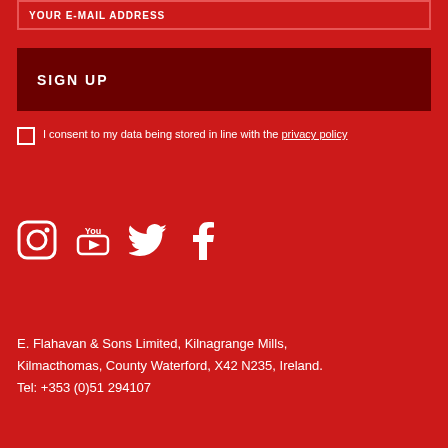YOUR E-MAIL ADDRESS
SIGN UP
I consent to my data being stored in line with the privacy policy
[Figure (illustration): Four social media icons: Instagram, YouTube, Twitter, Facebook — white icons on red background]
E. Flahavan & Sons Limited, Kilnagrange Mills, Kilmacthomas, County Waterford, X42 N235, Ireland. Tel: +353 (0)51 294107